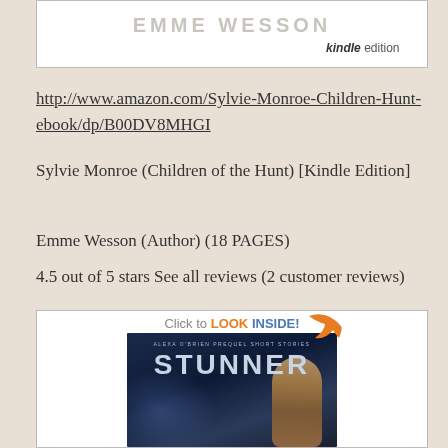[Figure (illustration): Top portion of a book cover showing 'EMME WESSON' in large styled letters with 'kindle edition' text below, white background with border]
http://www.amazon.com/Sylvie-Monroe-Children-Hunt-ebook/dp/B00DV8MHGI
Sylvie Monroe (Children of the Hunt) [Kindle Edition]
Emme Wesson (Author) (18 PAGES)
4.5 out of 5 stars See all reviews (2 customer reviews)
[Figure (illustration): Book cover for 'STUNNER' by Alexa O'Brien Prequel Short Stories, featuring a wolf and a blonde woman, with a 'Click to LOOK INSIDE!' badge in the top right corner]